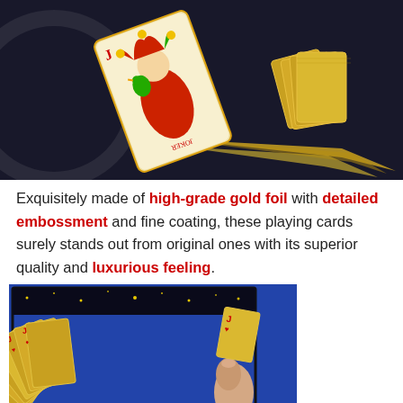[Figure (photo): Gold foil playing cards on a dark background. A Joker card is prominently displayed face-up at an angle, with gold card backs fanned out to the right. A decorative gold ring/circle is partially visible on the left.]
Exquisitely made of high-grade gold foil with detailed embossment and fine coating, these playing cards surely stands out from original ones with its superior quality and luxurious feeling.
[Figure (photo): A hand holding a fan of gold foil playing cards. Cards visible include Jacks, 10s, 9s, and other numbered cards with red and black suits visible on a golden background.]